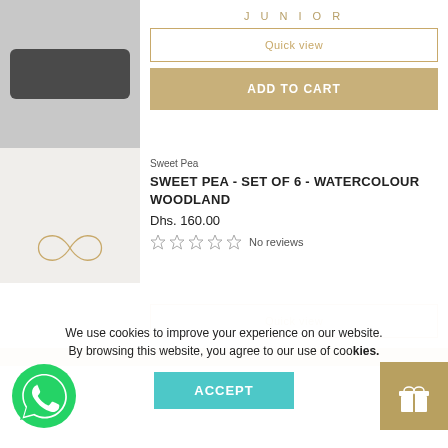JUNIOR
[Figure (photo): Dark rectangular product image placeholder (product from Junior brand)]
Quick view
ADD TO CART
[Figure (logo): Sweet Pea brand logo with golden infinity-like script symbol on light gray background]
Sweet Pea
SWEET PEA - SET OF 6 - WATERCOLOUR WOODLAND
Dhs. 160.00
No reviews
Quick view
We use cookies to improve your experience on our website. By browsing this website, you agree to our use of cookies.
ACCEPT